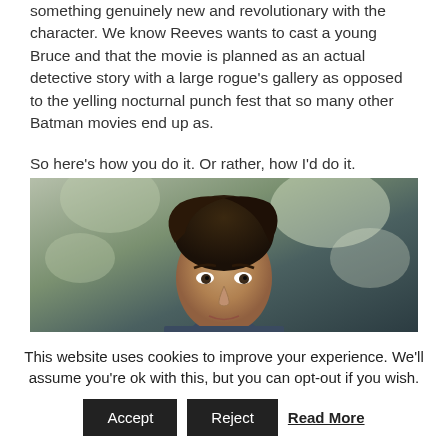something genuinely new and revolutionary with the character. We know Reeves wants to cast a young Bruce and that the movie is planned as an actual detective story with a large rogue's gallery as opposed to the yelling nocturnal punch fest that so many other Batman movies end up as.
So here's how you do it. Or rather, how I'd do it.
[Figure (photo): A young man with dark wavy hair looking slightly upward, outdoors with blurred green foliage in the background. Appears to be a still from the TV show Gotham showing a young Bruce Wayne.]
This website uses cookies to improve your experience. We'll assume you're ok with this, but you can opt-out if you wish.